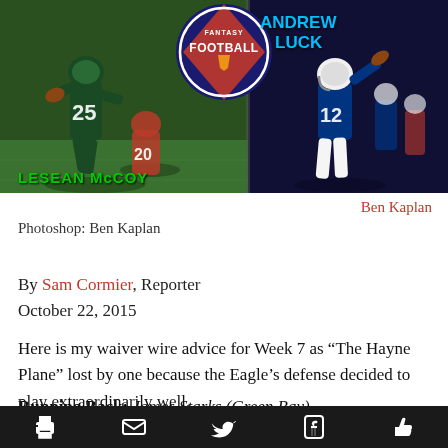[Figure (photo): Fantasy Football photo collage with LeSean McCoy (Philadelphia Eagles #25) on the left side and Andrew Luck (Indianapolis Colts #12) on the right side, with a Fantasy Football shield logo in the center top]
Ben Kaplan
Photoshop: Ben Kaplan
By Sam Cormier, Reporter
October 22, 2015
Here is my waiver wire advice for Week 7 as “The Hayne Plane” lost by one because the Eagle’s defense decided to play extraordinarily well.
Running Back: James Starks (Green Bay)
When n